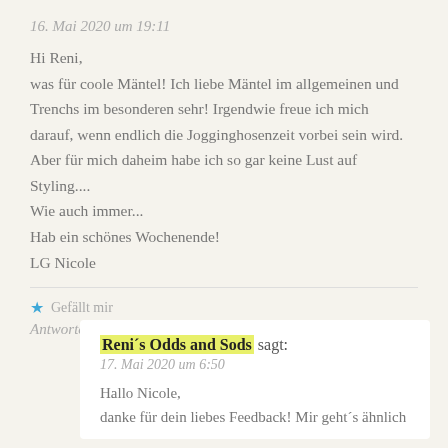16. Mai 2020 um 19:11
Hi Reni,
was für coole Mäntel! Ich liebe Mäntel im allgemeinen und Trenchs im besonderen sehr! Irgendwie freue ich mich darauf, wenn endlich die Jogginghosenzeit vorbei sein wird. Aber für mich daheim habe ich so gar keine Lust auf Styling....
Wie auch immer...
Hab ein schönes Wochenende!
LG Nicole
★ Gefällt mir
Antworten
Reni´s Odds and Sods sagt:
17. Mai 2020 um 6:50
Hallo Nicole,
danke für dein liebes Feedback! Mir geht´s ähnlich